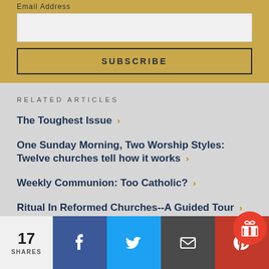Email Address
[Figure (screenshot): Subscribe form with email input field and Subscribe button on gold background]
RELATED ARTICLES
The Toughest Issue ›
One Sunday Morning, Two Worship Styles: Twelve churches tell how it works ›
Weekly Communion: Too Catholic? ›
Ritual In Reformed Churches--A Guided Tour ›
[Figure (screenshot): Social share bar with 17 SHARES count, Facebook, Twitter, Email, Pinterest, and Gift icons]